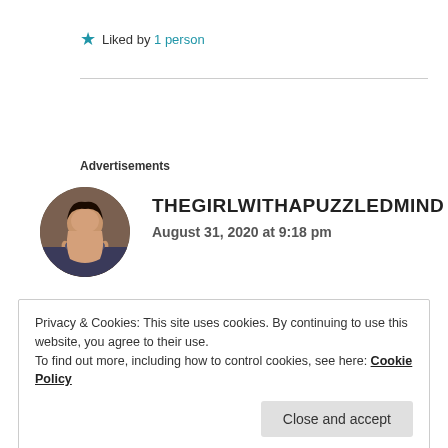★ Liked by 1 person
Advertisements
[Figure (photo): Circular profile photo of a young woman sitting outdoors]
THEGIRLWITHAPUZZLEDMIND
August 31, 2020 at 9:18 pm
Privacy & Cookies: This site uses cookies. By continuing to use this website, you agree to their use.
To find out more, including how to control cookies, see here: Cookie Policy
Close and accept